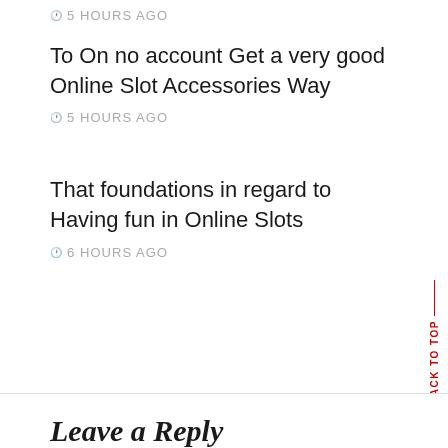🕐 5 HOURS AGO
To On no account Get a very good Online Slot Accessories Way
🕐 5 HOURS AGO
That foundations in regard to Having fun in Online Slots
🕐 6 HOURS AGO
Leave a Reply